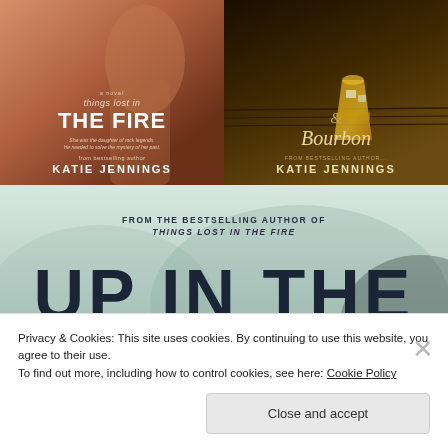[Figure (photo): Book cover for 'Things Lost in the Fire' by Katie Jennings. Warm reddish-brown tones with a woman figure. Text: 'a novel', 'things lost in', 'THE FIRE', italic subtitle text, 'from bestselling author', 'KATIE JENNINGS']
[Figure (photo): Book cover with dark brown tones, whiskey glass, script text '& Bourbon' with 'FROM BESTSELLING AUTHOR KATIE JENNINGS']
[Figure (photo): Partial book cover with misty forest background. Text: 'FROM THE BESTSELLING AUTHOR OF', 'THINGS LOST IN THE FIRE', large text 'UP IN THE']
Privacy & Cookies: This site uses cookies. By continuing to use this website, you agree to their use.
To find out more, including how to control cookies, see here: Cookie Policy
Close and accept